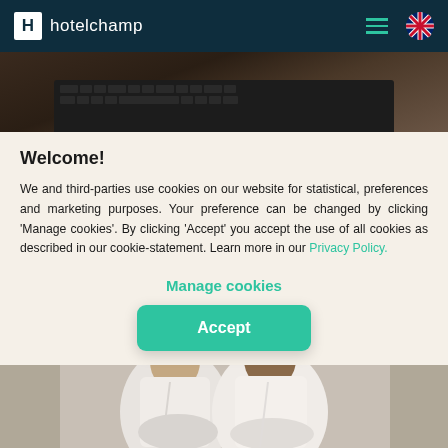hotelchamp
[Figure (photo): Top portion showing a laptop keyboard, dark background]
Welcome!
We and third-parties use cookies on our website for statistical, preferences and marketing purposes. Your preference can be changed by clicking 'Manage cookies'. By clicking 'Accept' you accept the use of all cookies as described in our cookie-statement. Learn more in our Privacy Policy.
Manage cookies
Accept
[Figure (photo): Two people in white bathrobes sitting on a bed in a hotel room]